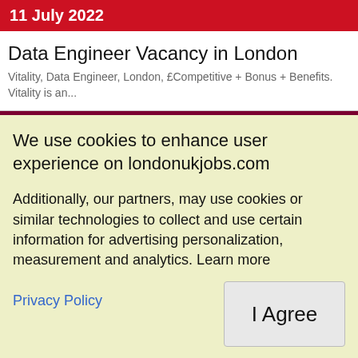11 July 2022
Data Engineer Vacancy in London
Vitality, Data Engineer, London, £Competitive + Bonus + Benefits. Vitality is an...
We use cookies to enhance user experience on londonukjobs.com
Additionally, our partners, may use cookies or similar technologies to collect and use certain information for advertising personalization, measurement and analytics. Learn more
Privacy Policy
I Agree